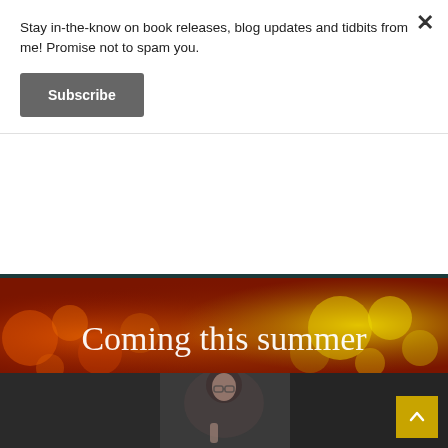Stay in-the-know on book releases, blog updates and tidbits from me! Promise not to spam you.
Subscribe
[Figure (photo): Coming this summer banner with bokeh orange and yellow lights]
Grains of Fire (The Bohemians #2) update!
May 04, 2018
[Figure (photo): Author photo: woman with dark hair, glasses, smiling, holding a pencil, wearing black jacket]